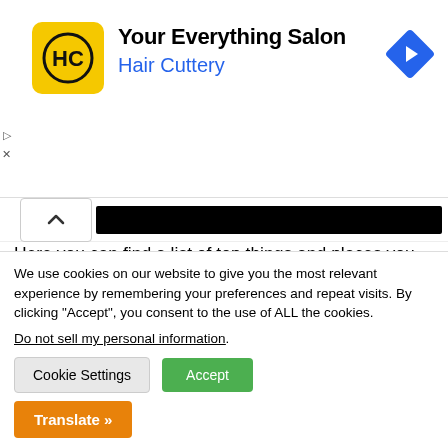[Figure (logo): Hair Cuttery ad banner with yellow logo, title 'Your Everything Salon', subtitle 'Hair Cuttery', and a blue navigation arrow icon]
Here you can find a list of top things and places you can visit while you're in Positano Italy.
1. The Positano beaches
2. Visit Positano's Center and do a good
We use cookies on our website to give you the most relevant experience by remembering your preferences and repeat visits. By clicking “Accept”, you consent to the use of ALL the cookies.
Do not sell my personal information.